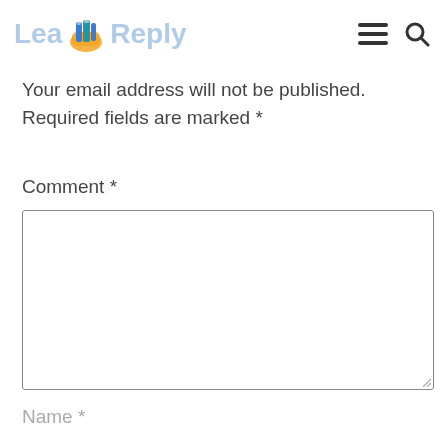Leave a Reply
Your email address will not be published. Required fields are marked *
Comment *
[Figure (other): Comment text area input box]
Name *